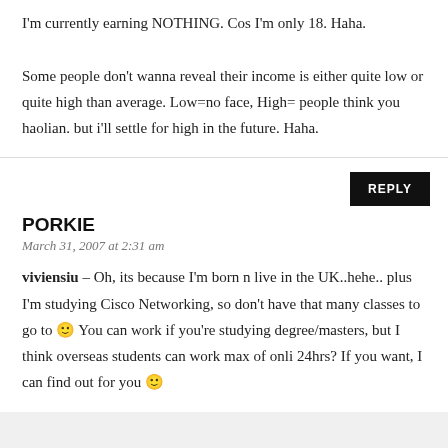I'm currently earning NOTHING. Cos I'm only 18. Haha. Some people don't wanna reveal their income is either quite low or quite high than average. Low=no face, High= people think you haolian. but i'll settle for high in the future. Haha.
PORKIE
March 31, 2007 at 2:31 am
viviensiu – Oh, its because I'm born n live in the UK..hehe.. plus I'm studying Cisco Networking, so don't have that many classes to go to 🙂 You can work if you're studying degree/masters, but I think overseas students can work max of onli 24hrs? If you want, I can find out for you 🙂